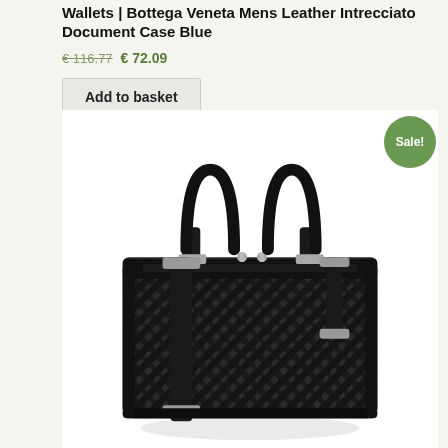Wallets | Bottega Veneta Mens Leather Intrecciato Document Case Blue
€ 116.77  € 72.09
Add to basket
[Figure (photo): Black Bottega Veneta intrecciato woven leather document case briefcase with top handles and shoulder strap, shown against white background. Sale badge in green circle in top right.]